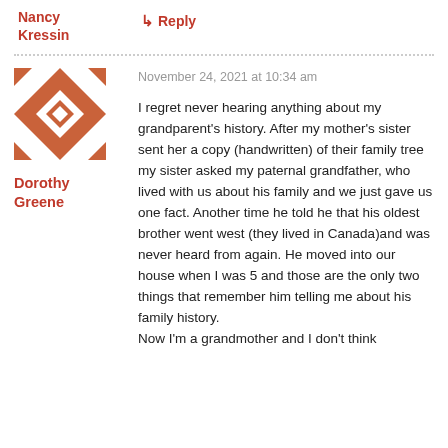Nancy Kressin
↳ Reply
November 24, 2021 at 10:34 am
[Figure (illustration): Geometric quilt-pattern avatar in terracotta/orange and white, featuring diamond and triangle shapes arranged symmetrically.]
Dorothy Greene
I regret never hearing anything about my grandparent's history. After my mother's sister sent her a copy (handwritten) of their family tree my sister asked my paternal grandfather, who lived with us about his family and we just gave us one fact. Another time he told he that his oldest brother went west (they lived in Canada)and was never heard from again. He moved into our house when I was 5 and those are the only two things that remember him telling me about his family history.
Now I'm a grandmother and I don't think